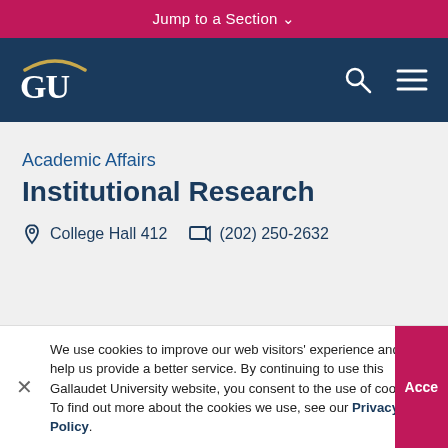Jump to a Section ∨
[Figure (logo): Gallaudet University GU logo with arc above letters on dark navy background, with search and menu icons on right]
Academic Affairs
Institutional Research
College Hall 412   (202) 250-2632
We use cookies to improve our web visitors' experience and to help us provide a better service. By continuing to use this Gallaudet University website, you consent to the use of cookies. To find out more about the cookies we use, see our Privacy Policy.